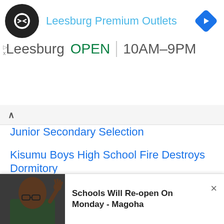[Figure (screenshot): Advertisement banner for Leesburg Premium Outlets showing logo, store name in blue, location 'Leesburg', green 'OPEN' status, and hours '10AM-9PM', with a navigation diamond icon.]
Junior Secondary Selection
Kisumu Boys High School Fire Destroys Dormitory
Gov't Spends Sh3.3 Billion on CBC Infrastructure Projects
North-Eastern Drought Hits Education
[Figure (photo): Photo of a man in a suit with glasses raising his hand, appearing to be Professor Magoha.]
Schools Will Re-open On Monday - Magoha